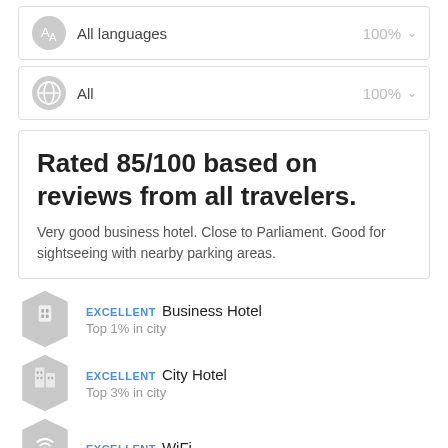All languages  100%
All  100%
Rated 85/100 based on reviews from all travelers.
Very good business hotel. Close to Parliament. Good for sightseeing with nearby parking areas.
EXCELLENT  Business Hotel
Top 1% in city
EXCELLENT  City Hotel
Top 3% in city
EXCELLENT  WiFi